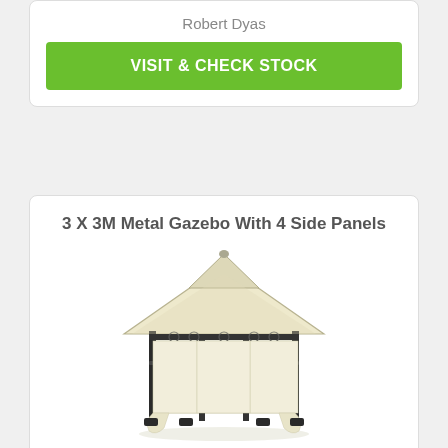Robert Dyas
VISIT & CHECK STOCK
3 X 3M Metal Gazebo With 4 Side Panels
[Figure (photo): A cream/beige metal gazebo with 4 side curtain panels, black metal frame, and a tiered roof, shown from a front-angle perspective.]
£239.99